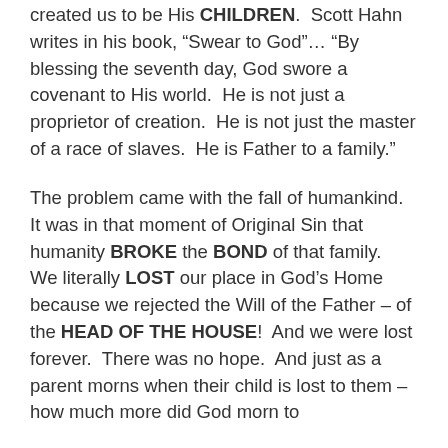created us to be His CHILDREN.  Scott Hahn writes in his book, "Swear to God"... "By blessing the seventh day, God swore a covenant to His world.  He is not just a proprietor of creation.  He is not just the master of a race of slaves.  He is Father to a family."
The problem came with the fall of humankind. It was in that moment of Original Sin that humanity BROKE the BOND of that family.  We literally LOST our place in God's Home because we rejected the Will of the Father – of the HEAD OF THE HOUSE!  And we were lost forever.  There was no hope.  And just as a parent morns when their child is lost to them – how much more did God morn to